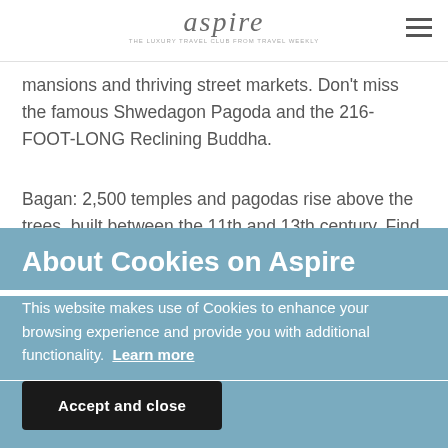aspire — THE LUXURY TRAVEL CLUB FROM TRAVEL WEEKLY
mansions and thriving street markets. Don't miss the famous Shwedagon Pagoda and the 216-FOOT-LONG Reclining Buddha.
Bagan: 2,500 temples and pagodas rise above the trees, built between the 11th and 13th century. Find elaborate paintings and statues inside. The breathtaking Kodak moment comes during dawn and dusk hot-air balloon
About Cookies on Aspire
This website makes use of Cookies to enhance your browsing experience and provide you with additional functionality.  Learn more
Accept and close